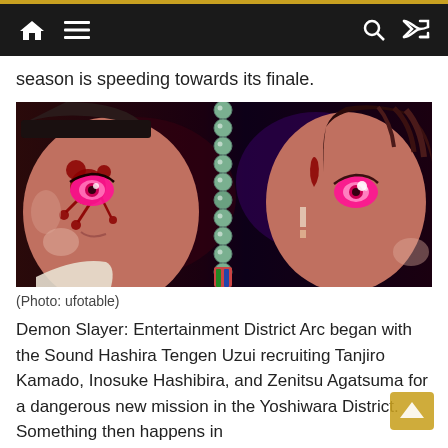Navigation bar with home, menu, search, and shuffle icons
season is speeding towards its finale.
[Figure (photo): Close-up anime illustration of two characters facing each other: on the left a demon character with pink glowing eye and dark face markings, separated from the right character (Tanjiro Kamado with pink glowing eye and red teardrop scar) by a strand of teal prayer beads. Dark purple and red background.]
(Photo: ufotable)
Demon Slayer: Entertainment District Arc began with the Sound Hashira Tengen Uzui recruiting Tanjiro Kamado, Inosuke Hashibira, and Zenitsu Agatsuma for a dangerous new mission in the Yoshiwara District. Something then happens in